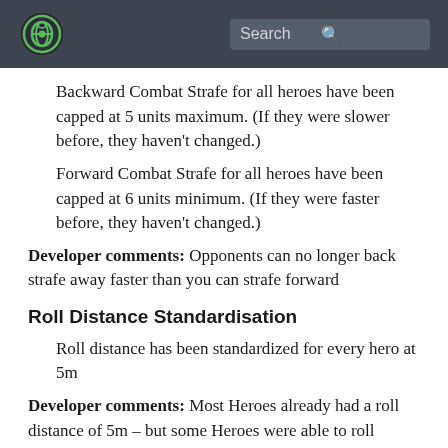Search
Backward Combat Strafe for all heroes have been capped at 5 units maximum. (If they were slower before, they haven't changed.)
Forward Combat Strafe for all heroes have been capped at 6 units minimum. (If they were faster before, they haven't changed.)
Developer comments: Opponents can no longer back strafe away faster than you can strafe forward
Roll Distance Standardisation
Roll distance has been standardized for every hero at 5m
Developer comments: Most Heroes already had a roll distance of 5m – but some Heroes were able to roll further. This was unnecessary, since at 5m you